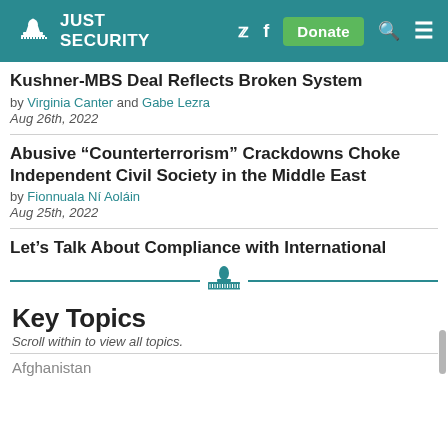JUST SECURITY
Kushner-MBS Deal Reflects Broken System
by Virginia Canter and Gabe Lezra
Aug 26th, 2022
Abusive “Counterterrorism” Crackdowns Choke Independent Civil Society in the Middle East
by Fionnuala Ní Aoláin
Aug 25th, 2022
Let’s Talk About Compliance with International
[Figure (logo): Just Security capitol building logo icon with decorative horizontal lines]
Key Topics
Scroll within to view all topics.
Afghanistan